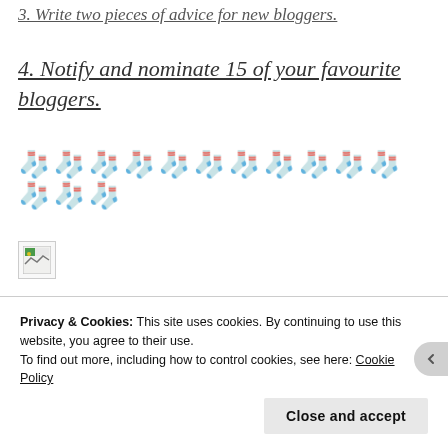3. Write two pieces of advice for new bloggers.
4. Notify and nominate 15 of your favourite bloggers.
[Figure (other): A row of red and white candy cane or sock emoji/icons used as a decorative divider]
[Figure (other): A broken/missing image placeholder (small icon with green and white)]
Privacy & Cookies: This site uses cookies. By continuing to use this website, you agree to their use. To find out more, including how to control cookies, see here: Cookie Policy
Close and accept